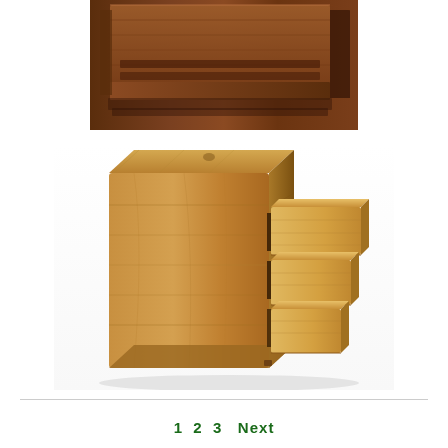[Figure (photo): Top-down view of a dark wooden puzzle box or interlocking wooden pieces, showing the grain and joinery detail from above.]
[Figure (photo): A light oak wooden box with three small drawers partially pulled out from the right side, showing the drawer construction and wood grain detail.]
1  2  3  Next